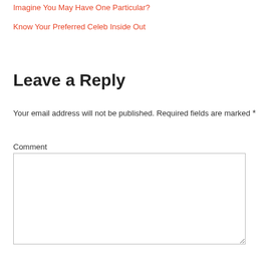Imagine You May Have One Particular?
Know Your Preferred Celeb Inside Out
Leave a Reply
Your email address will not be published. Required fields are marked *
Comment